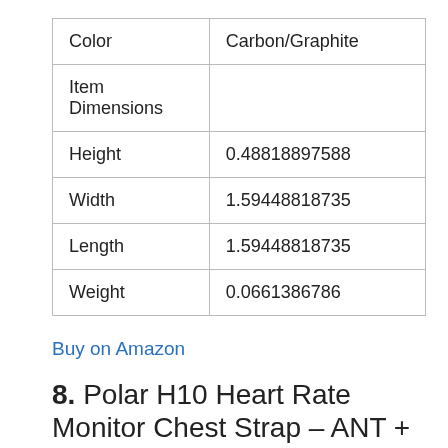| Color | Carbon/Graphite |
| Item Dimensions |  |
| Height | 0.48818897588 |
| Width | 1.59448818735 |
| Length | 1.59448818735 |
| Weight | 0.0661386786 |
Buy on Amazon
8. Polar H10 Heart Rate Monitor Chest Strap – ANT + Bluetooth, Waterproof HR Sensor for Men